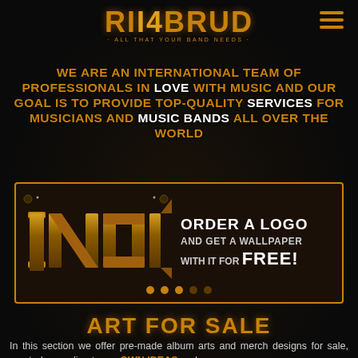[Figure (logo): All4Band logo with stylized text and tagline 'ALL THAT YOUR BAND NEEDS']
WE ARE AN INTERNATIONAL TEAM OF PROFESSIONALS IN LOVE WITH MUSIC AND OUR GOAL IS TO PROVIDE TOP-QUALITY SERVICES FOR MUSICIANS AND MUSIC BANDS ALL OVER THE WORLD
[Figure (illustration): Banner with INOK metal logo on dark background and carousel dots. Right side text: ORDER A LOGO AND GET A WALLPAPER WITH IT FOR FREE!]
ART FOR SALE
In this section we offer pre-made album arts and merch designs for sale, created according to our OWN IDEAS and